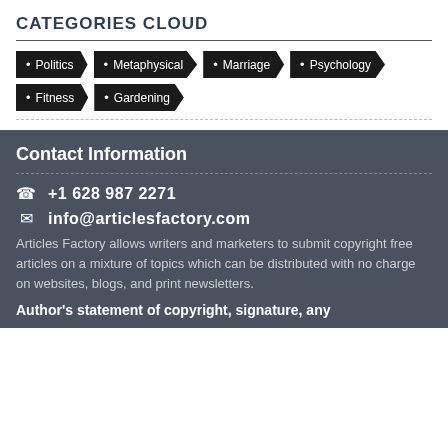CATEGORIES CLOUD
Politics
Metaphysical
Marriage
Psychology
Fitness
Gardening
Contact Information
+1 628 987 2271
info@articlesfactory.com
Articles Factory allows writers and marketers to submit copyright free articles on a mixture of topics which can be distributed with no charge on websites, blogs, and print newsletters.
Author's statement of copyright, signature, any